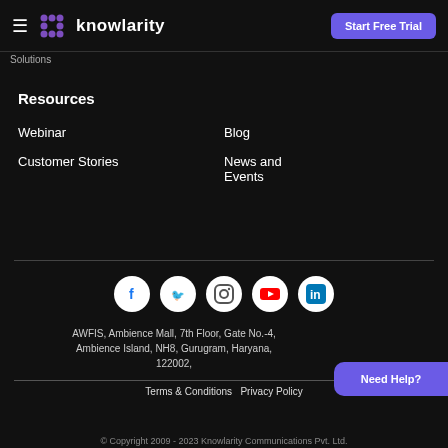Knowlarity — Start Free Trial
Resources
Webinar
Customer Stories
Blog
News and Events
[Figure (logo): Social media icons: Facebook, Twitter, Instagram, YouTube, LinkedIn]
AWFIS, Ambience Mall, 7th Floor, Gate No.-4, Ambience Island, NH8, Gurugram, Haryana, 122002,
Terms & Conditions  Privacy Policy
Need Help?